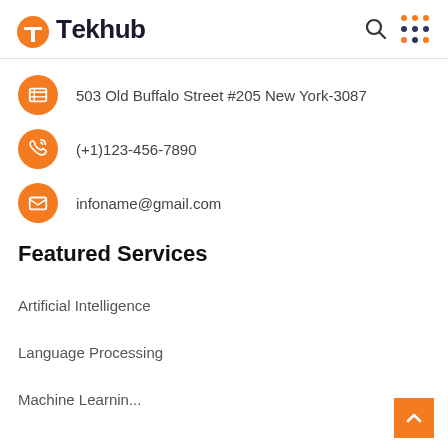Tekhub
503 Old Buffalo Street #205 New York-3087
(+1)123-456-7890
infoname@gmail.com
Featured Services
Artificial Intelligence
Language Processing
Machine Learning (partial)